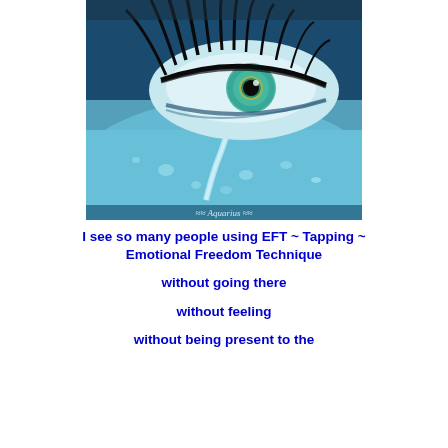[Figure (photo): Close-up artistic photo of a blue eye with dramatic black lashes, a teardrop running down the cheek, and a watermark reading '≈≈ Aquarius ≈≈' at the bottom in italic script. The image has a blue toned, aquatic aesthetic.]
I see so many people using EFT ~ Tapping ~ Emotional Freedom Technique

without going there

without feeling